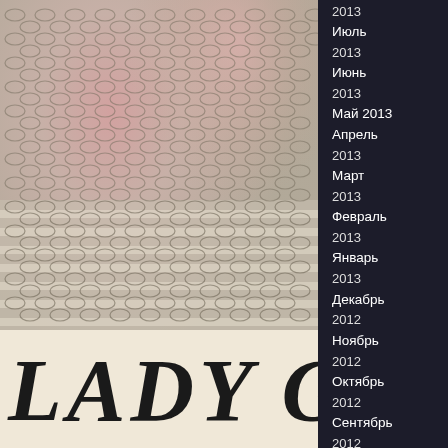[Figure (photo): Lady Gaga album/promotional image showing a figure covered with a fishnet/mesh fabric overlay, with a pinkish-beige background and horizontal striped bands. The text 'LADY GA' (partially visible) appears in large distressed serif font at the bottom on a cream/beige background.]
2013
Июль
2013
Июнь
2013
Май 2013
Апрель
2013
Март
2013
Февраль
2013
Январь
2013
Декабрь
2012
Ноябрь
2012
Октябрь
2012
Сентябрь
2012
Август
2012
Июль